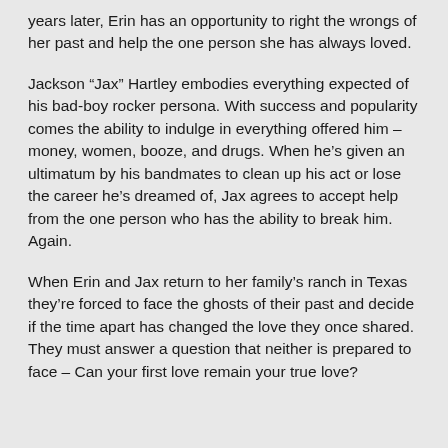years later, Erin has an opportunity to right the wrongs of her past and help the one person she has always loved.
Jackson “Jax” Hartley embodies everything expected of his bad-boy rocker persona. With success and popularity comes the ability to indulge in everything offered him – money, women, booze, and drugs. When he’s given an ultimatum by his bandmates to clean up his act or lose the career he’s dreamed of, Jax agrees to accept help from the one person who has the ability to break him. Again.
When Erin and Jax return to her family’s ranch in Texas they’re forced to face the ghosts of their past and decide if the time apart has changed the love they once shared. They must answer a question that neither is prepared to face – Can your first love remain your true love?